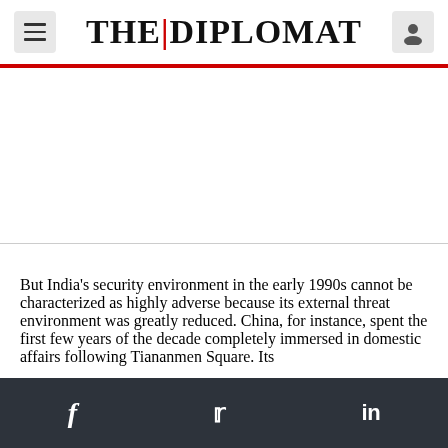THE | DIPLOMAT
[Figure (other): Advertisement banner placeholder area]
But India's security environment in the early 1990s cannot be characterized as highly adverse because its external threat environment was greatly reduced. China, for instance, spent the first few years of the decade completely immersed in domestic affairs following Tiananmen Square. Its
f   Twitter   in